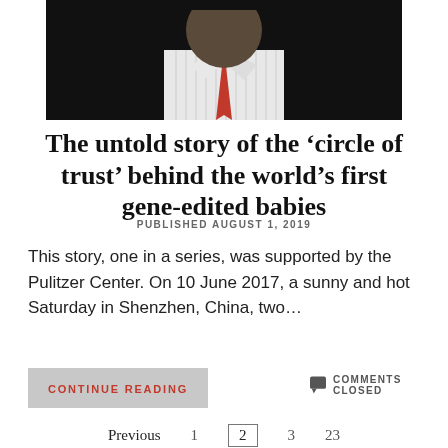[Figure (photo): Partial photo of a person wearing a white striped shirt and red tie/scarf, photographed against a dark background. Only the lower portion of the face and torso are visible.]
The untold story of the 'circle of trust' behind the world's first gene-edited babies
PUBLISHED AUGUST 1, 2019
This story, one in a series, was supported by the Pulitzer Center. On 10 June 2017, a sunny and hot Saturday in Shenzhen, China, two…
CONTINUE READING
COMMENTS CLOSED
Previous  1  2  3  23